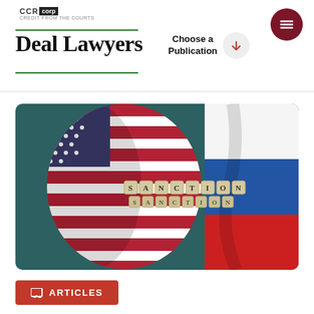CCR corp
Deal Lawyers
Choose a Publication
[Figure (photo): Photo showing an American flag on the left, a Russian flag on the right, and letter dice spelling SANCTION in the center, placed on a dark teal background — symbolizing US-Russia sanctions.]
ARTICLES